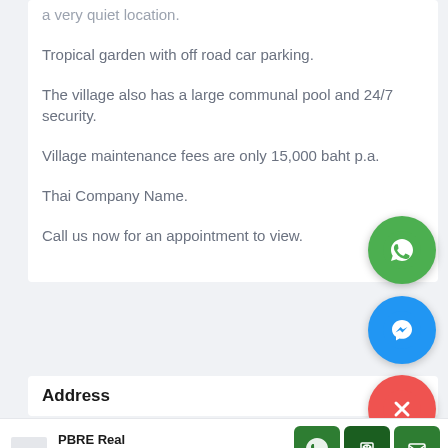a very quiet location.
Tropical garden with off road car parking.
The village also has a large communal pool and 24/7 security.
Village maintenance fees are only 15,000 baht p.a.
Thai Company Name.
Call us now for an appointment to view.
[Figure (logo): WhatsApp floating action button (green circle with phone/chat icon)]
[Figure (logo): Facebook Messenger floating action button (blue circle with lightning bolt icon)]
[Figure (logo): Close floating action button (red/pink circle with X icon)]
Address
PBRE Real Estate
[Figure (logo): PBRE Real Estate logo small]
[Figure (logo): Footer: WhatsApp green button, phone green button, mail green button]